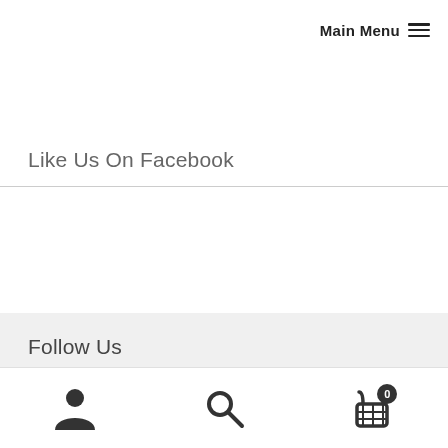Main Menu ≡
Like Us On Facebook
Follow Us
[Figure (screenshot): Bottom toolbar with user/account icon, search icon (magnifying glass), and shopping cart icon with badge showing 0]